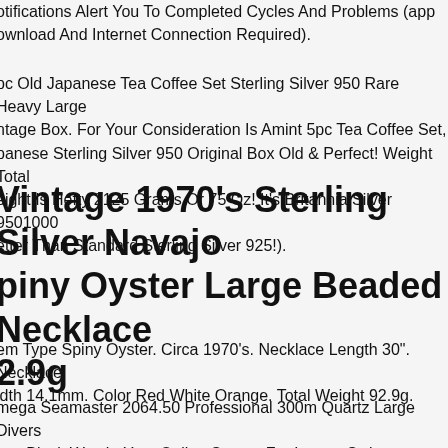otifications Alert You To Completed Cycles And Problems (app ownload And Internet Connection Required).
pc Old Japanese Tea Coffee Set Sterling Silver 950 Rare Heavy Large ntage Box. For Your Consideration Is Amint 5pc Tea Coffee Set, panese Sterling Silver 950 Original Box Old & Perfect! Weight Total eight Is Hefty 2125 Grams Or 75 Oz! It's Britannia Silver 9501000 etter Than Standard Sterling Silver 925!).
Vintage 1970's Sterling Silver Navajo piny Oyster Large Beaded Necklace 2.9g
em Type Spiny Oyster. Circa 1970's. Necklace Length 30". Necklace idth 14.1mm. Color Red White Orange. Total Weight 92.9g.
mega Seamaster 2064.50 Professional 300m Quartz Large Divers ens Black Watch. Your Online Source For Luxury Swiss Watches. We o Not Affiliated With Any Manufacturers. If You Would Like To Tra